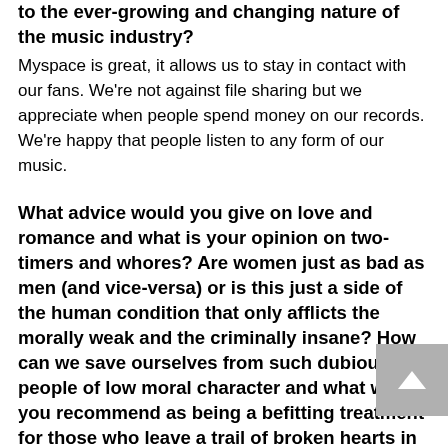to the ever-growing and changing nature of the music industry?
Myspace is great, it allows us to stay in contact with our fans. We're not against file sharing but we appreciate when people spend money on our records. We're happy that people listen to any form of our music.
What advice would you give on love and romance and what is your opinion on two-timers and whores? Are women just as bad as men (and vice-versa) or is this just a side of the human condition that only afflicts the morally weak and the criminally insane? How can we save ourselves from such dubious people of low moral character and what would you recommend as being a befitting treatment for those who leave a trail of broken hearts in their wake?
We're musicians, not marriage councilors.